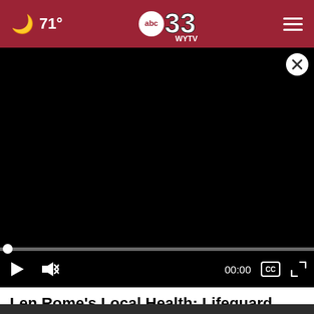🌙 71° — abc33 WYTV — ☰
[Figure (screenshot): Black video player area, paused at 00:00, with close button (X), progress bar at start, play button, mute button, time display 00:00, CC button, and fullscreen button.]
Len Rome's Local Health: Lifeguard